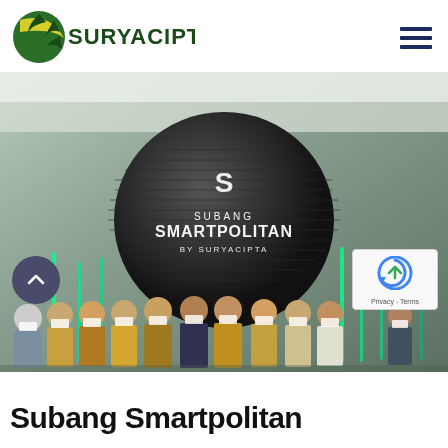[Figure (logo): Suryacipta logo with green leaf/gear icon and yellow crescent, company name in dark green bold text]
[Figure (photo): Group photo of approximately 10 people wearing batik and masks standing in front of Subang Smartpolitan by Suryacipta exhibition stand with a large black sphere and green neon light strips]
Subang Smartpolitan